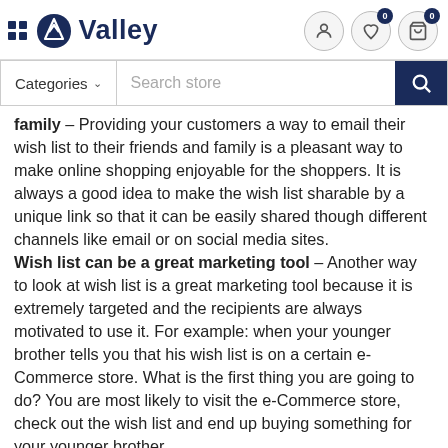Valley — e-commerce site header with navigation icons
Categories ∨  Search store
family – Providing your customers a way to email their wish list to their friends and family is a pleasant way to make online shopping enjoyable for the shoppers. It is always a good idea to make the wish list sharable by a unique link so that it can be easily shared though different channels like email or on social media sites.
Wish list can be a great marketing tool – Another way to look at wish list is a great marketing tool because it is extremely targeted and the recipients are always motivated to use it. For example: when your younger brother tells you that his wish list is on a certain e-Commerce store. What is the first thing you are going to do? You are most likely to visit the e-Commerce store, check out the wish list and end up buying something for your younger brother.
So, how a wish list is a marketing tool? The reason is quite simple, it introduce your online store to new customers just how it is explained in the above example.